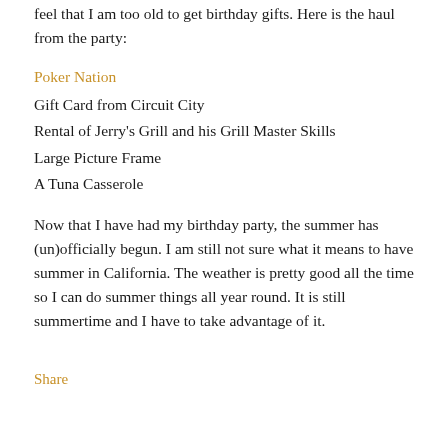feel that I am too old to get birthday gifts. Here is the haul from the party:
Poker Nation
Gift Card from Circuit City
Rental of Jerry's Grill and his Grill Master Skills
Large Picture Frame
A Tuna Casserole
Now that I have had my birthday party, the summer has (un)officially begun. I am still not sure what it means to have summer in California. The weather is pretty good all the time so I can do summer things all year round. It is still summertime and I have to take advantage of it.
Share